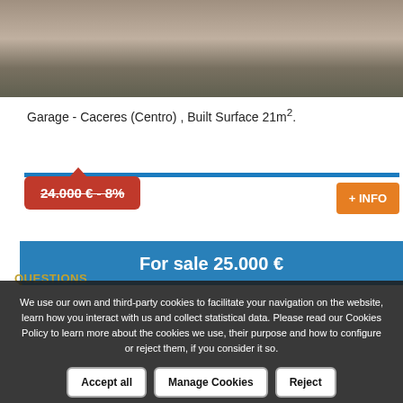[Figure (photo): Interior photo showing a garage floor with a dark mottled finish]
Garage - Caceres (Centro) , Built Surface 21m².
24.000 € - 8%
+ INFO
For sale 25.000 €
QUESTIONS
We use our own and third-party cookies to facilitate your navigation on the website, learn how you interact with us and collect statistical data. Please read our Cookies Policy to learn more about the cookies we use, their purpose and how to configure or reject them, if you consider it so.
Accept all
Manage Cookies
Reject